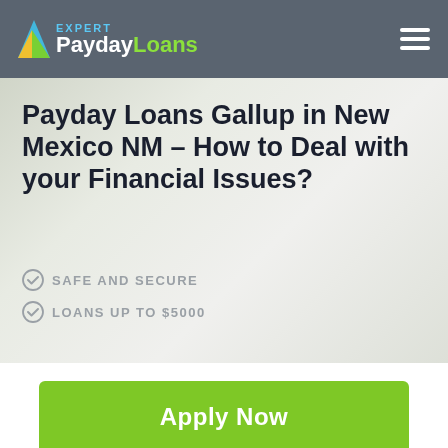Expert PaydayLoans
Payday Loans Gallup in New Mexico NM – How to Deal with your Financial Issues?
SAFE AND SECURE
LOANS UP TO $5000
Apply Now
Applying does NOT affect your credit score! No credit check to apply.